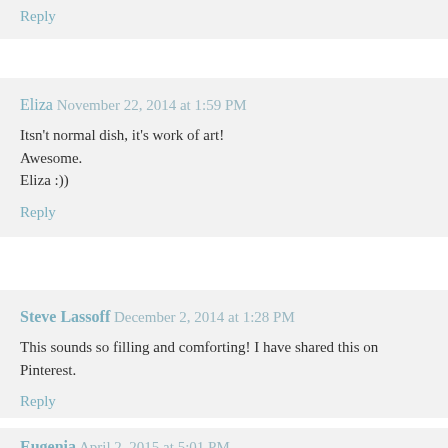Reply
Eliza  November 22, 2014 at 1:59 PM
Itsn't normal dish, it's work of art! Awesome. Eliza :))
Reply
Steve Lassoff  December 2, 2014 at 1:28 PM
This sounds so filling and comforting! I have shared this on Pinterest.
Reply
Eugenia  April 2, 2015 at 5:01 PM